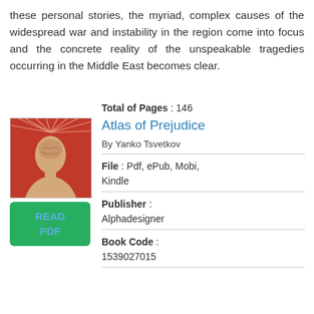these personal stories, the myriad, complex causes of the widespread war and instability in the region come into focus and the concrete reality of the unspeakable tragedies occurring in the Middle East becomes clear.
Atlas of Prejudice
By Yanko Tsvetkov
[Figure (illustration): Book cover with red background and brain/head silhouette illustration]
[Figure (other): Green READ PDF button]
File : Pdf, ePub, Mobi, Kindle
Publisher : Alphadesigner
Book Code : 1539027015
Total of Pages : 146